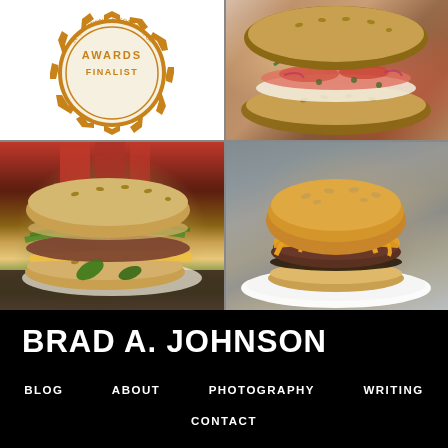[Figure (illustration): IACP Awards Finalist badge/seal - gold circular emblem with text 'AWARDS FINALIST' and 'INTERNATIONAL ASSOCIATION OF CULINARY PROFESSIONALS']
[Figure (photo): Close-up photo of a salmon bagel sandwich with greens, sesame seed bagel, capers, cream cheese, and microgreens]
[Figure (photo): Close-up photo of a large sandwich/torta cut in half showing layers with jalapeño, avocado, cheese, and greens on a sesame roll, with red metal shelving in background]
[Figure (photo): Close-up photo of a cheeseburger on a sesame seed brioche bun with melted orange cheese on a thick beef patty, served on a white plate, gray background]
BRAD A. JOHNSON
BLOG
ABOUT
PHOTOGRAPHY
WRITING
CONTACT